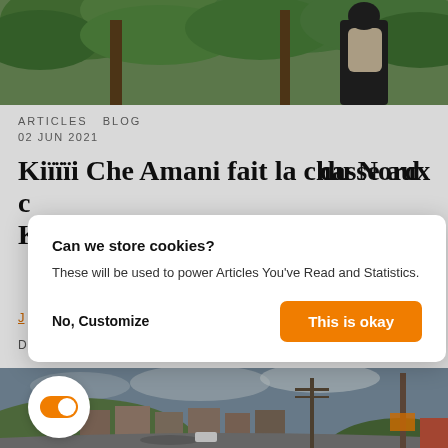[Figure (photo): Top portion of a photo showing green foliage and a person in dark clothing carrying something, viewed from behind]
ARTICLES  BLOG
02 JUN 2021
Kiïïïi Che Amani fait la chasse aux c[...] du Nord K[...]
J[...]
D[...]
[Figure (screenshot): Cookie consent modal dialog with title 'Can we store cookies?', body text 'These will be used to power Articles You've Read and Statistics.', and two buttons: 'No, Customize' and 'This is okay' (orange)]
[Figure (photo): Bottom photo showing an African town street scene with buildings, road, utility poles, cloudy sky, crowd of people in distance, and a toggle switch UI element (orange) in the bottom-left corner]